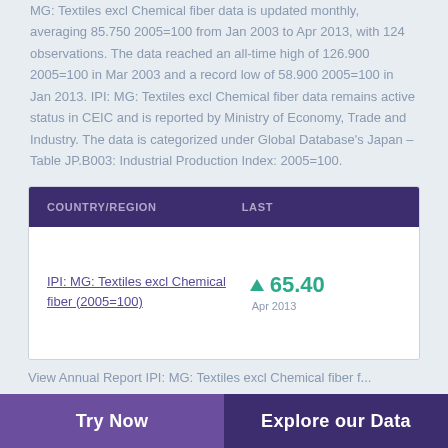MG: Textiles excl Chemical fiber data is updated monthly, averaging 85.750 2005=100 from Jan 2003 to Apr 2013, with 124 observations. The data reached an all-time high of 126.900 2005=100 in Mar 2003 and a record low of 58.900 2005=100 in Jan 2013. IPI: MG: Textiles excl Chemical fiber data remains active status in CEIC and is reported by Ministry of Economy, Trade and Industry. The data is categorized under Global Database's Japan – Table JP.B003: Industrial Production Index: 2005=100.
| COUNTRY/REGION | LAST |
| --- | --- |
| IPI: MG: Textiles excl Chemical fiber (2005=100) | ▲ 65.40
Apr 2013 |
View Annual Report IPI: MG: Textiles excl Chemical fiber f...
Try Now    Explore our Data